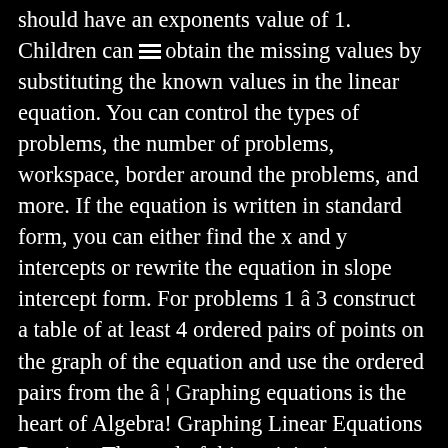should have an exponents value of 1. Children can obtain the missing values by substituting the known values in the linear equation. You can control the types of problems, the number of problems, workspace, border around the problems, and more. If the equation is written in standard form, you can either find the x and y intercepts or rewrite the equation in slope intercept form. For problems 1 â 3 construct a table of at least 4 ordered pairs of points on the graph of the equation and use the ordered pairs from the â ¦ Graphing equations is the heart of Algebra! Graphing Linear Equations Practice: The goal of this activity is not simply to graph lines. Section 3-1 : Graphing. It is to help students make connections between the equation and the graph. Here is a set of practice problems to accompany the Linear Equations section of the Solving Equations and Inequalities chapter of the notes for Paul Dawkins Algebra course